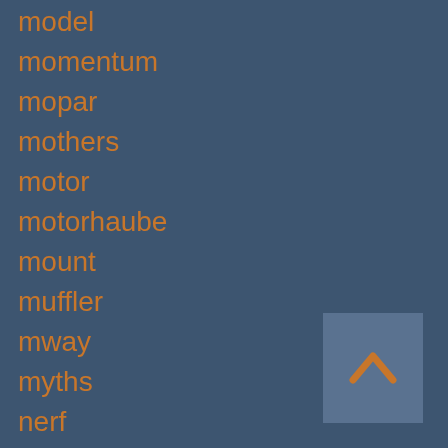model
momentum
mopar
mothers
motor
motorhaube
mount
muffler
mway
myths
nerf
never
nick
nilight
nissan
nissens
number
offroad
omix-ada
only
orig
original
osram
overkill
paint
painting
pair
[Figure (other): Scroll-to-top arrow button in a grey square, bottom-right corner]